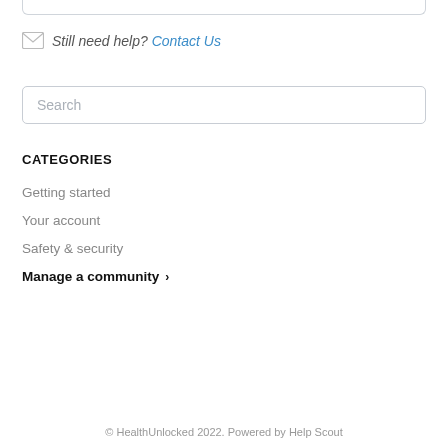Still need help? Contact Us
Search
CATEGORIES
Getting started
Your account
Safety & security
Manage a community
© HealthUnlocked 2022. Powered by Help Scout